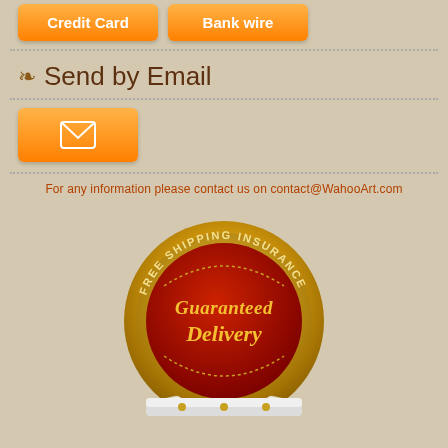[Figure (other): Two orange buttons: Credit Card and Bank wire]
✿ Send by Email
[Figure (other): Orange email button with envelope icon]
For any information please contact us on contact@WahooArt.com
[Figure (other): Gold and red circular badge reading 'FREE SHIPPING INSURANCE' around the top and 'Guaranteed Delivery' in the center]